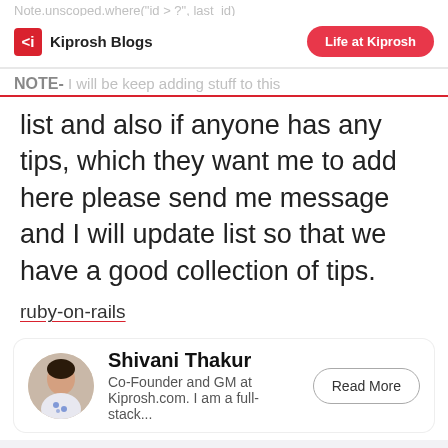Note.unscoped.where("id > ?", last_id)
Kiprosh Blogs | Life at Kiprosh
NOTE- I will be keep adding stuff to this list and also if anyone has any tips, which they want me to add here please send me message and I will update list so that we have a good collection of tips.
ruby-on-rails
Shivani Thakur
Co-Founder and GM at Kiprosh.com. I am a full-stack...
Kiprosh Blogs